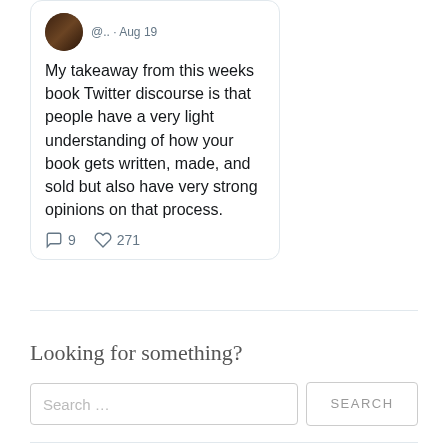[Figure (screenshot): Tweet card with avatar, username @.. · Aug 19, tweet text about book Twitter discourse, comment icon with 9, heart icon with 271]
My takeaway from this weeks book Twitter discourse is that people have a very light understanding of how your book gets written, made, and sold but also have very strong opinions on that process.
9  271
Looking for something?
Search …
SEARCH